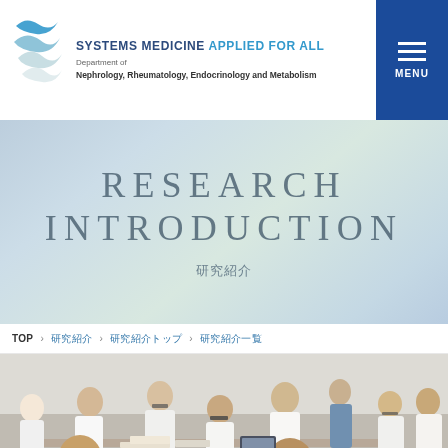SYSTEMS MEDICINE APPLIED FOR ALL — Department of Nephrology, Rheumatology, Endocrinology and Metabolism
RESEARCH INTRODUCTION
研究紹介
TOP > 研究紹介 > 研究紹介トップ > 研究紹介一覧
[Figure (photo): Group of doctors and medical students in white coats gathered around a table reviewing documents in a clinical or educational setting]